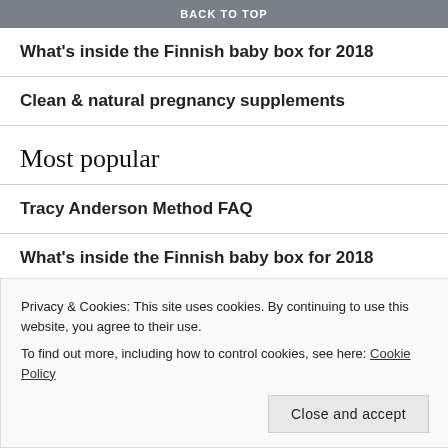BACK TO TOP
What's inside the Finnish baby box for 2018
Clean & natural pregnancy supplements
Most popular
Tracy Anderson Method FAQ
What's inside the Finnish baby box for 2018
Tepezcohuite pomada arbol de vida
Privacy & Cookies: This site uses cookies. By continuing to use this website, you agree to their use.
To find out more, including how to control cookies, see here: Cookie Policy